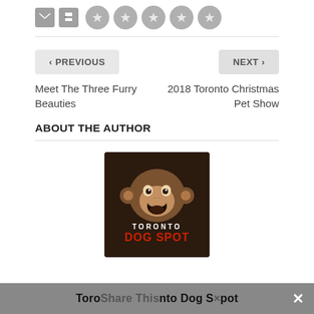[Figure (screenshot): Email and print icon buttons (dark gray rectangles) and five star rating icons (gray circles) in a horizontal row]
< PREVIOUS
NEXT >
Meet The Three Furry Beauties
2018 Toronto Christmas Pet Show
ABOUT THE AUTHOR
[Figure (logo): Toronto Dog Spot logo: brown monkey face on dark brown background with red and white text 'TORONTO DOG SPOT']
Toronto Dog Spot